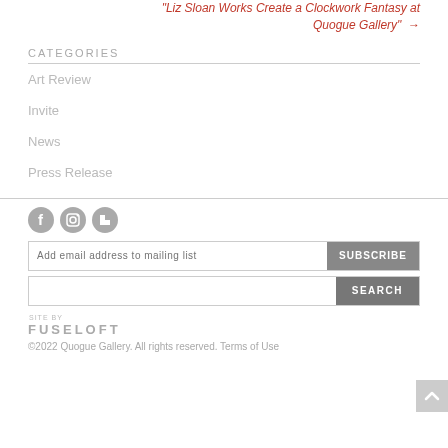“Liz Sloan Works Create a Clockwork Fantasy at Quogue Gallery” →
CATEGORIES
Art Review
Invite
News
Press Release
[Figure (infographic): Social media icons: Facebook, Instagram, Houzz]
Add email address to mailing list  SUBSCRIBE
SEARCH
SITE BY
FUSELOFT
©2022 Quogue Gallery. All rights reserved. Terms of Use